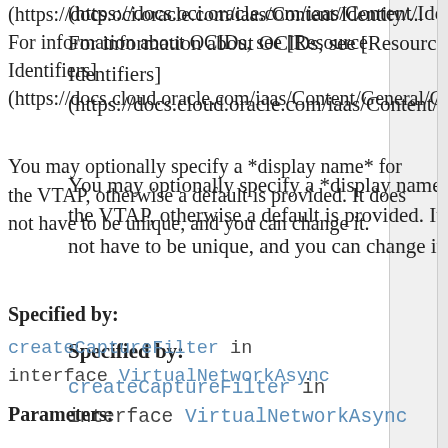(https://docs.oci.oracle.com/iaas/Content/Identity/... For information about OCIDs, see [Resource Identifiers](https://docs.cloud.oracle.com/iaas/Content/General/Conc
You may optionally specify a *display name* for the VTAP, otherwise a default is provided. It does not have to be unique, and you can change it.
Specified by:
createCaptureFilter in interface VirtualNetworkAsync
Parameters:
request - The request object containing the details to send
handler - The request handler to invoke upon completion, may be null.
Returns:
A Future that can be used to get the response if no AsyncHandler was provided. Note, if you provide an AsyncHandler and use the Future, some types of responses (like...